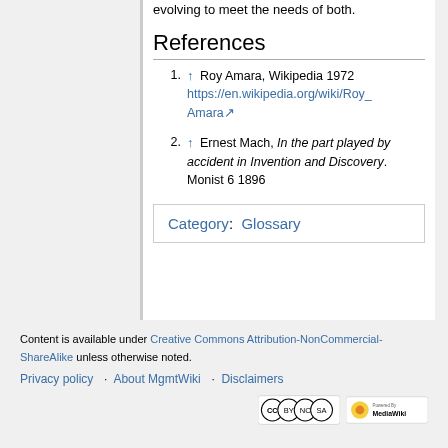evolving to meet the needs of both.
References
↑ Roy Amara, Wikipedia 1972 https://en.wikipedia.org/wiki/Roy_Amara
↑ Ernest Mach, In the part played by accident in Invention and Discovery. Monist 6 1896
Category: Glossary
Content is available under Creative Commons Attribution-NonCommercial-ShareAlike unless otherwise noted. Privacy policy · About MgmtWiki · Disclaimers